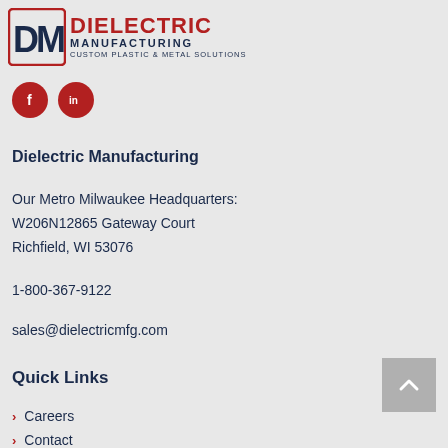[Figure (logo): Dielectric Manufacturing logo with DM icon in navy/red, company name DIELECTRIC in red, MANUFACTURING in navy, tagline CUSTOM PLASTIC & METAL SOLUTIONS]
[Figure (illustration): Social media icons: Facebook (f) and LinkedIn (in) in red circles]
Dielectric Manufacturing
Our Metro Milwaukee Headquarters:
W206N12865 Gateway Court
Richfield, WI 53076
1-800-367-9122
sales@dielectricmfg.com
Quick Links
Careers
Contact